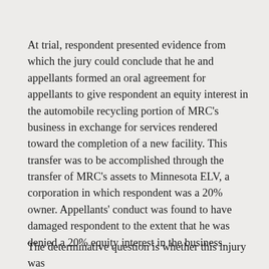At trial, respondent presented evidence from which the jury could conclude that he and appellants formed an oral agreement for appellants to give respondent an equity interest in the automobile recycling portion of MRC’s business in exchange for services rendered toward the completion of a new facility. This transfer was to be accomplished through the transfer of MRC’s assets to Minnesota ELV, a corporation in which respondent was a 20% owner. Appellants’ conduct was found to have damaged respondent to the extent that he was denied a 20% equity interest in the business.
The determinative question is whether this injury was